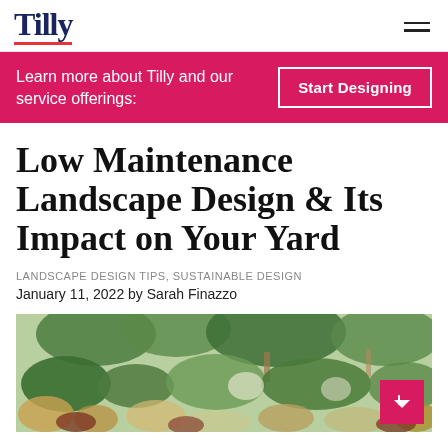Tilly
Learn more about Tilly and our service offerings: [Start Designing button]
Low Maintenance Landscape Design & Its Impact on Your Yard
LANDSCAPE DESIGN TIPS, SUSTAINABLE DESIGN
January 11, 2022 by Sarah Finazzo
[Figure (photo): Garden landscape photo showing lush green trees, shrubs, and ornamental grasses with varied foliage colors including greens, browns, and yellows.]